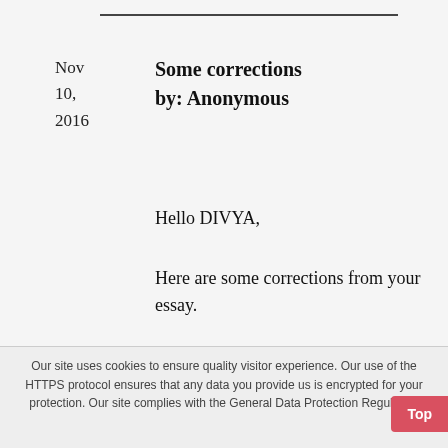Some corrections by: Anonymous
Nov 10, 2016
Hello DIVYA,
Here are some corrections from your essay.
1. spelling of 'diffence' - it should be 'defense'
2. add 's' to the word 'help'
3. spelling of 'draught' should be
Our site uses cookies to ensure quality visitor experience. Our use of the HTTPS protocol ensures that any data you provide us is encrypted for your protection. Our site complies with the General Data Protection Regulation